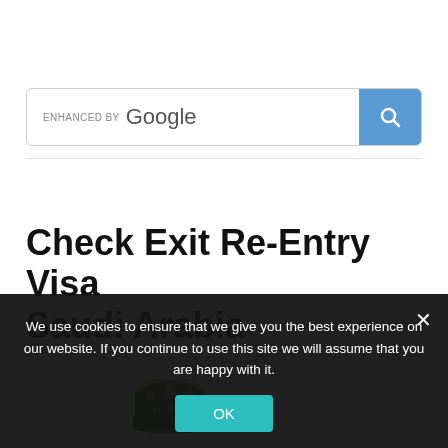[Figure (screenshot): Google custom search bar with 'ENHANCED BY Google' label and blue search button with magnifying glass icon]
Check Exit Re-Entry Visa Saudi Arabia
[Figure (illustration): Saudi Arabia crown emblem logo (green and gold) partially visible at bottom of page]
We use cookies to ensure that we give you the best experience on our website. If you continue to use this site we will assume that you are happy with it.